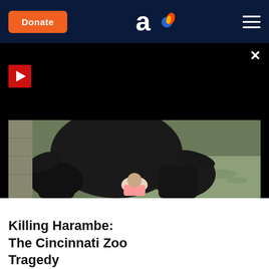Donate | [aish.com logo] | Menu
[Figure (screenshot): Black video player area with red play button top-left, X close button top-right, and a red READ MORE button centered in the lower portion. Below it, a photograph showing a large gorilla (Harambe) standing over a small child in a water enclosure at a zoo.]
Killing Harambe: The Cincinnati Zoo Tragedy